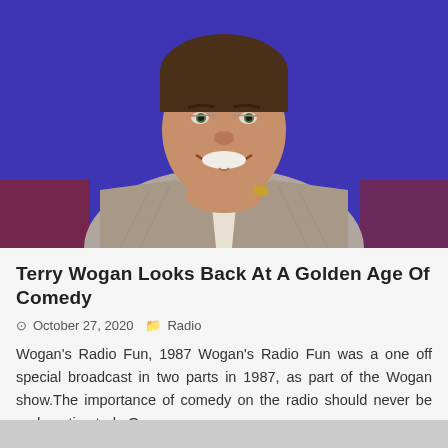[Figure (photo): Portrait photo of Terry Wogan in a grey plaid blazer, smiling with hands clasped under chin, against a purple background]
Terry Wogan Looks Back At A Golden Age Of Comedy
⊙ October 27, 2020  🗁 Radio
Wogan's Radio Fun, 1987 Wogan's Radio Fun was a one off special broadcast in two parts in 1987, as part of the Wogan show.The importance of comedy on the radio should never be underestimated.  Over many ye...